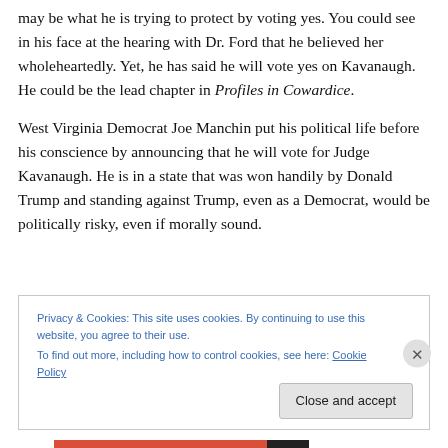may be what he is trying to protect by voting yes. You could see in his face at the hearing with Dr. Ford that he believed her wholeheartedly. Yet, he has said he will vote yes on Kavanaugh. He could be the lead chapter in Profiles in Cowardice.
West Virginia Democrat Joe Manchin put his political life before his conscience by announcing that he will vote for Judge Kavanaugh. He is in a state that was won handily by Donald Trump and standing against Trump, even as a Democrat, would be politically risky, even if morally sound.
Privacy & Cookies: This site uses cookies. By continuing to use this website, you agree to their use. To find out more, including how to control cookies, see here: Cookie Policy